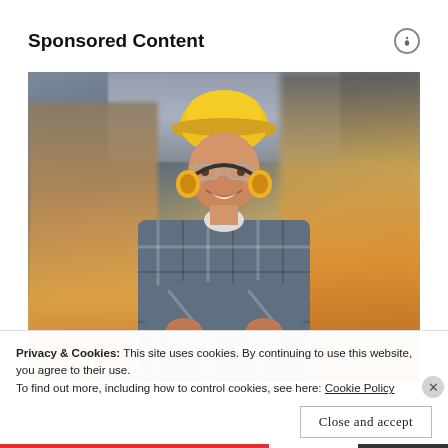Sponsored Content
[Figure (photo): Construction worker wearing a yellow hard hat, safety glasses, and yellow earmuffs around his neck, with arms crossed and smiling, photographed in an industrial/construction site environment with blurred heavy machinery in the background. Video playback controls (skip-back, pause, skip-forward) are visible in the lower right.]
Privacy & Cookies: This site uses cookies. By continuing to use this website, you agree to their use.
To find out more, including how to control cookies, see here: Cookie Policy
Close and accept